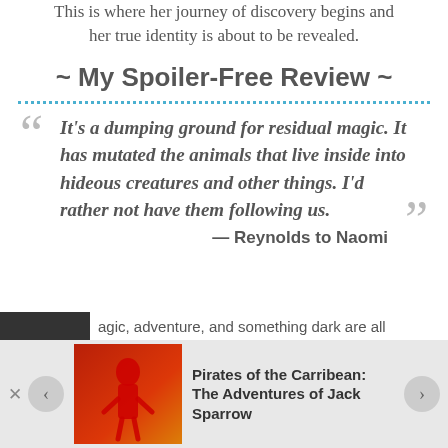This is where her journey of discovery begins and her true identity is about to be revealed.
~ My Spoiler-Free Review ~
It's a dumping ground for residual magic. It has mutated the animals that live inside into hideous creatures and other things. I'd rather not have them following us. — Reynolds to Naomi
magic, adventure, and something dark are all
[Figure (other): Book cover thumbnail showing a red-costumed figure, for Pirates of the Carribean: The Adventures of Jack Sparrow]
Pirates of the Carribean: The Adventures of Jack Sparrow